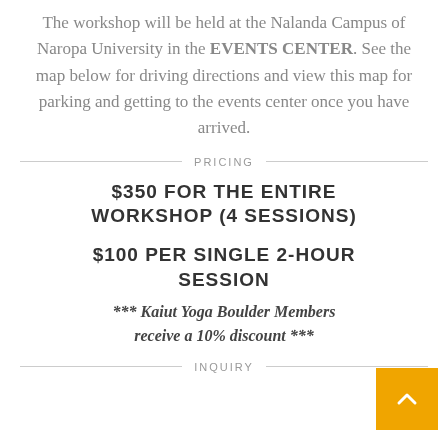The workshop will be held at the Nalanda Campus of Naropa University in the EVENTS CENTER. See the map below for driving directions and view this map for parking and getting to the events center once you have arrived.
PRICING
$350 FOR THE ENTIRE WORKSHOP (4 SESSIONS)
$100 PER SINGLE 2-HOUR SESSION
*** Kaiut Yoga Boulder Members receive a 10% discount ***
INQUIRY